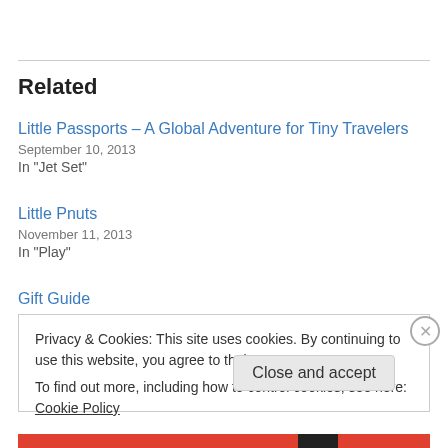Related
Little Passports – A Global Adventure for Tiny Travelers
September 10, 2013
In "Jet Set"
Little Pnuts
November 11, 2013
In "Play"
Gift Guide
Privacy & Cookies: This site uses cookies. By continuing to use this website, you agree to their use.
To find out more, including how to control cookies, see here: Cookie Policy
Close and accept